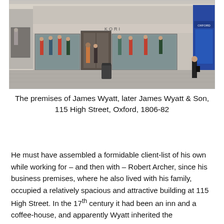[Figure (photo): Street-level photograph of a retail shop front at 115 High Street, Oxford. The building facade shows large display windows with mannequins and clothing, a central entrance, and neighboring shops. Pedestrians are visible on the pavement.]
The premises of James Wyatt, later James Wyatt & Son, 115 High Street, Oxford, 1806-82
He must have assembled a formidable client-list of his own while working for – and then with – Robert Archer, since his business premises, where he also lived with his family, occupied a relatively spacious and attractive building at 115 High Street. In the 17th century it had been an inn and a coffee-house, and apparently Wyatt inherited the Chippendale chairs of the latter, on which the dons